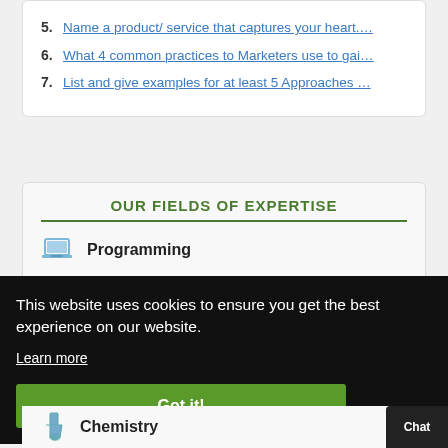5. Name a product/ service that captures your heart.…
6. What 4 common practices to Marketers use to gai…
7. List and give examples for at least 5 Approaches …
OUR FIELDS OF EXPERTISE
Programming
This website uses cookies to ensure you get the best experience on our website.
Learn more
Got it!
Chemistry
Chat